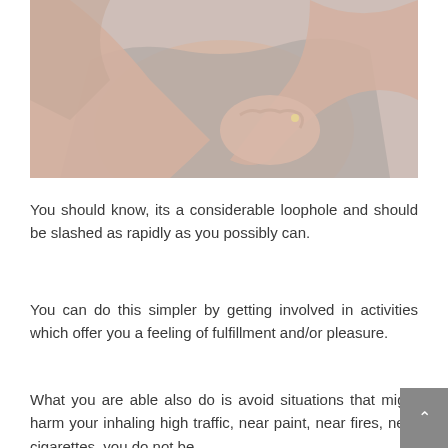[Figure (photo): Photo of a person's hands clasped over their chest/torso area, wearing a grey garment, suggesting chest discomfort or heart-related concern]
You should know, its a considerable loophole and should be slashed as rapidly as you possibly can.
You can do this simpler by getting involved in activities which offer you a feeling of fulfillment and/or pleasure.
What you are able also do is avoid situations that might harm your inhaling high traffic, near paint, near fires, near cigarettes, you do not be